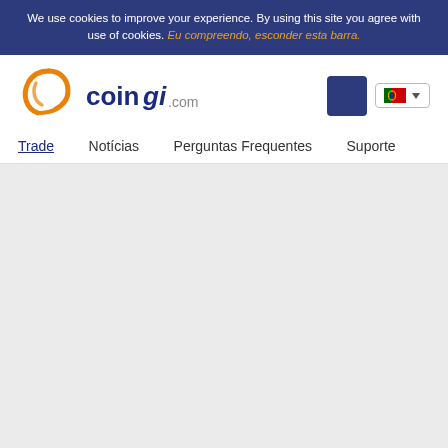We use cookies to improve your experience. By using this site you agree with use of cookies. Eu compreendo, esconder esta barra.
[Figure (logo): Coingi.com logo with orange spiral icon and blue text]
Trade  Notícias  Perguntas Frequentes  Suporte